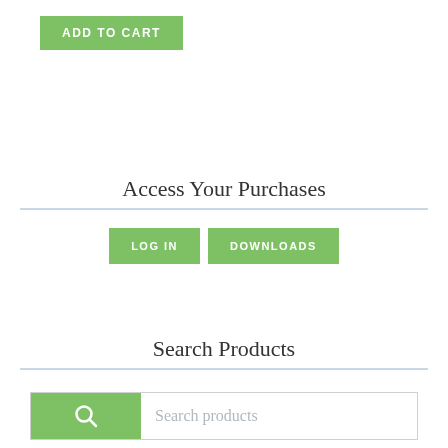[Figure (other): Green 'ADD TO CART' button in top left area]
Access Your Purchases
[Figure (other): Two green buttons side by side: 'LOG IN' and 'DOWNLOADS']
Search Products
[Figure (other): Search bar with green icon box on the left containing a search icon and placeholder text 'Search products']